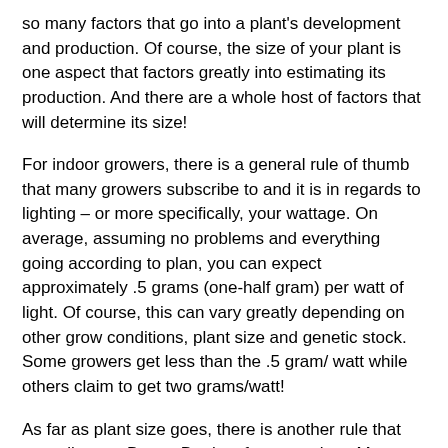so many factors that go into a plant's development and production. Of course, the size of your plant is one aspect that factors greatly into estimating its production. And there are a whole host of factors that will determine its size!
For indoor growers, there is a general rule of thumb that many growers subscribe to and it is in regards to lighting – or more specifically, your wattage. On average, assuming no problems and everything going according to plan, you can expect approximately .5 grams (one-half gram) per watt of light. Of course, this can vary greatly depending on other grow conditions, plant size and genetic stock. Some growers get less than the .5 gram/ watt while others claim to get two grams/watt!
As far as plant size goes, there is another rule that my colleague Danny Danko often preaches: More root, more fruit! Simply put, your plant can only get as big as your root system will allow for. The bigger the root structure, the bigger the plant. This leads directly to container size – bigger plant containers will lead to